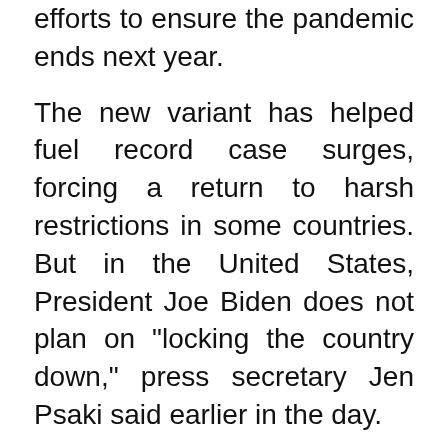efforts to ensure the pandemic ends next year.
The new variant has helped fuel record case surges, forcing a return to harsh restrictions in some countries. But in the United States, President Joe Biden does not plan on "locking the country down," press secretary Jen Psaki said earlier in the day.